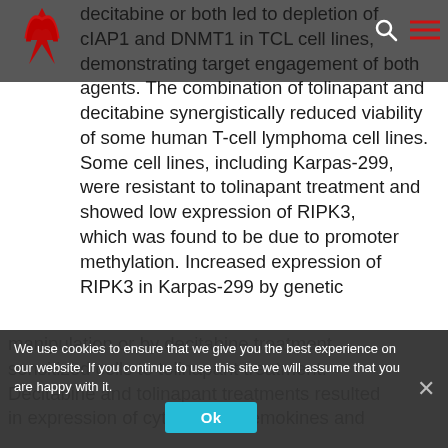[Site header with logo and navigation icons]
decitabine or both led to depletion of cIAP1 and DNMT1 in TCL cell lines, demonstrating target engagement of both agents. The combination of tolinapant and decitabine synergistically reduced viability of some human T-cell lymphoma cell lines. Some cell lines, including Karpas-299, were resistant to tolinapant treatment and showed low expression of RIPK3, which was found to be due to promoter methylation. Increased expression of RIPK3 in Karpas-299 by genetic
manipulation or by decitabine treatment sensitized cells to tolinapant treatment. Decitabine and tolinapant treatments resulted in expression of cytokines, chemokines and
We use cookies to ensure that we give you the best experience on our website. If you continue to use this site we will assume that you are happy with it.